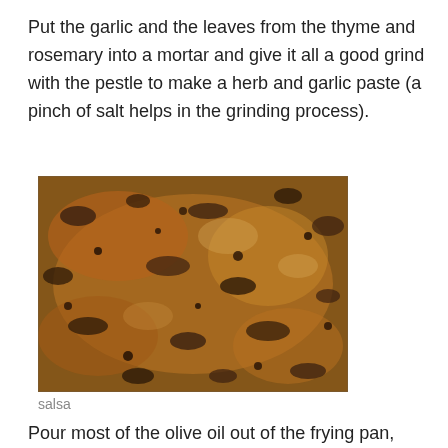Put the garlic and the leaves from the thyme and rosemary into a mortar and give it all a good grind with the pestle to make a herb and garlic paste (a pinch of salt helps in the grinding process).
[Figure (photo): Close-up photo of herb and garlic paste with dark brown and orange-brown spices and herbs spread across the surface.]
salsa
Pour most of the olive oil out of the frying pan, then (on a low heat) stir in the garlic paste and red wine vinegar (use